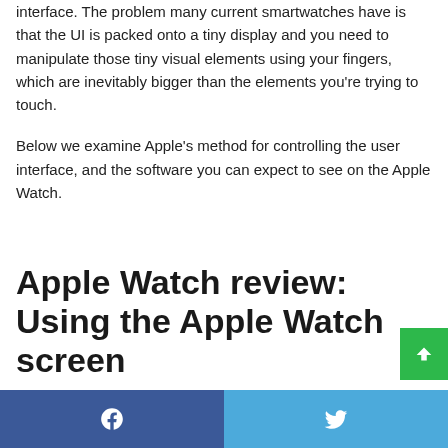interface. The problem many current smartwatches have is that the UI is packed onto a tiny display and you need to manipulate those tiny visual elements using your fingers, which are inevitably bigger than the elements you're trying to touch.
Below we examine Apple's method for controlling the user interface, and the software you can expect to see on the Apple Watch.
Apple Watch review: Using the Apple Watch screen